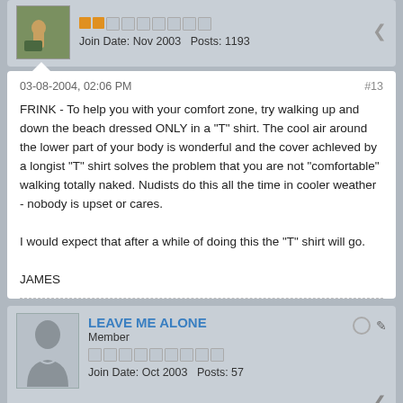Join Date: Nov 2003    Posts: 1193
03-08-2004, 02:06 PM
#13
FRINK - To help you with your comfort zone, try walking up and down the beach dressed ONLY in a "T" shirt. The cool air around the lower part of your body is wonderful and the cover achleved by a longist "T" shirt solves the problem that you are not "comfortable" walking totally naked. Nudists do this all the time in cooler weather - nobody is upset or cares.

I would expect that after a while of doing this the "T" shirt will go.

JAMES
LEAVE ME ALONE
Member
Join Date: Oct 2003    Posts: 57
03-08-2004, 02:26 PM
#14
Sometimes you can tell which ones are gawkers and which are just